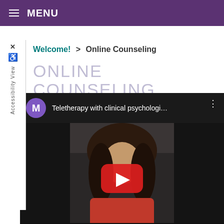≡ MENU
Welcome! > Online Counseling
ONLINE COUNSELING
[Figure (screenshot): YouTube video embed showing a woman with curly dark hair and a pink/red top, with a red YouTube play button overlay. Video title: 'Teletherapy with clinical psychologi...' with channel avatar showing letter M on purple background.]